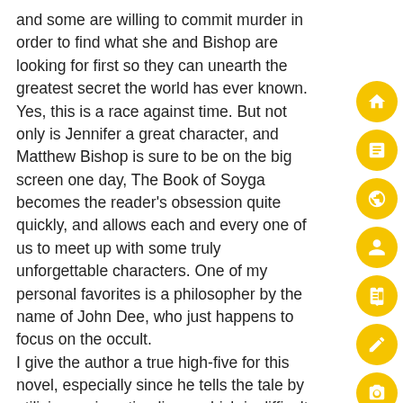and some are willing to commit murder in order to find what she and Bishop are looking for first so they can unearth the greatest secret the world has ever known. Yes, this is a race against time. But not only is Jennifer a great character, and Matthew Bishop is sure to be on the big screen one day, The Book of Soyga becomes the reader's obsession quite quickly, and allows each and every one of us to meet up with some truly unforgettable characters. One of my personal favorites is a philosopher by the name of John Dee, who just happens to focus on the occult. I give the author a true high-five for this novel, especially since he tells the tale by utilizing various timelines, which is difficult to do, even for the masters of the written word. The suspense is monumental, the story never slows down, and it has that magic of blurring the lines of the seemingly impossible with something that almost feels like it could be based on absolute truth (AKA, Da Vinci Code). I was told that this author's background is in writing but also
[Figure (infographic): Vertical sidebar with 8 circular golden/yellow icon buttons: home, document/notes, globe, person/profile, book, edit/pencil, camera, video/eye, speech bubble/comment.]